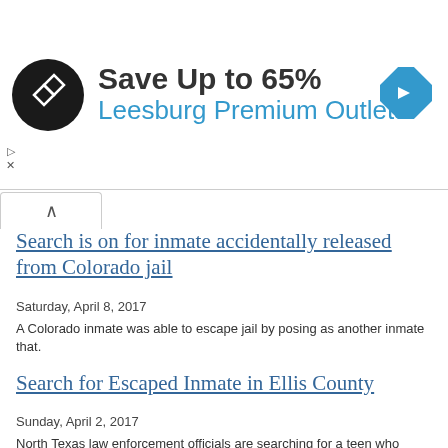[Figure (other): Advertisement banner: Save Up to 65% Leesburg Premium Outlets with logo and navigation icon]
Search is on for inmate accidentally released from Colorado jail
Saturday, April 8, 2017
A Colorado inmate was able to escape jail by posing as another inmate that.
Search for Escaped Inmate in Ellis County
Sunday, April 2, 2017
North Texas law enforcement officials are searching for a teen who escaped from guards in Ellis County Wednesday.
Search underway after inmate escapes in Sabine Parish
Sunday, April 2, 2017
Authorities are trying to track down an inmate who escaped in Sabine Parish.